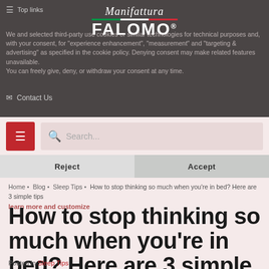Top links
[Figure (logo): Manifattura Falomo logo with Italian flag colors underline]
We and selected third parties use cookies or similar technologies for technical purposes and, with your consent, for "experience enhancement", "measurement" and "targeting & advertising" as specified in the cookie policy. Denying consent may make related features unavailable. You can freely give, deny, or withdraw your consent at any time.
Contact Us
Search...
Reject
Accept
Home • Blog • Sleep Tips • How to stop thinking so much when you're in bed? Here are 3 simple tips
learn more and customize
How to stop thinking so much when you're in bed? Here are 3 simple tips
Posted in Sleep Tips